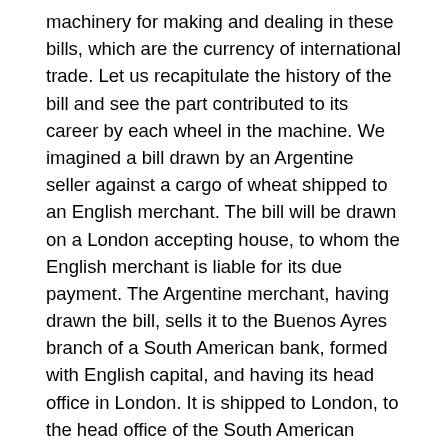machinery for making and dealing in these bills, which are the currency of international trade. Let us recapitulate the history of the bill and see the part contributed to its career by each wheel in the machine. We imagined a bill drawn by an Argentine seller against a cargo of wheat shipped to an English merchant. The bill will be drawn on a London accepting house, to whom the English merchant is liable for its due payment. The Argentine merchant, having drawn the bill, sells it to the Buenos Ayres branch of a South American bank, formed with English capital, and having its head office in London. It is shipped to London, to the head office of the South American bank, which presents it for acceptance to the accepting house on which it is drawn, and then sells it to a bill broker at the market rate of discount. If the bill is due three months after sight, and is for £2000, and the market rate of discount is 4 per cent. for three months' bills, the present value of the bill is obviously £1980. The bill broker, either at once or later, probably sells the bill to a bank, which holds it as an investment until its due date, by which time the importer having sold the wheat at a profit, pays the money required to meet the bill to his banker and the transaction is closed. Thus by means of the bill the exporter has received immediate payment for his wheat, the importing merchant has been supplied with credit for the sum their indebtedness...